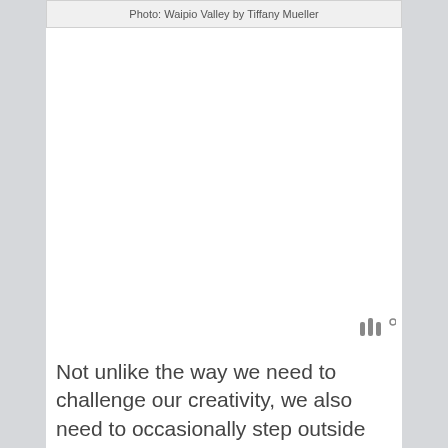Photo: Waipio Valley by Tiffany Mueller
Not unlike the way we need to challenge our creativity, we also need to occasionally step outside our comfort zone in terms of composition.